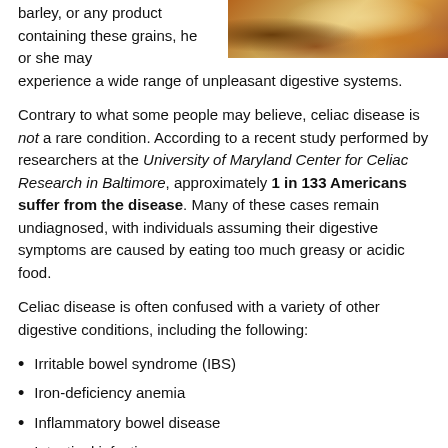[Figure (photo): Close-up photo of bread and grain-based food items, golden-brown tones]
barley, or any product containing these grains, he or she may experience a wide range of unpleasant digestive systems.
Contrary to what some people may believe, celiac disease is not a rare condition. According to a recent study performed by researchers at the University of Maryland Center for Celiac Research in Baltimore, approximately 1 in 133 Americans suffer from the disease. Many of these cases remain undiagnosed, with individuals assuming their digestive symptoms are caused by eating too much greasy or acidic food.
Celiac disease is often confused with a variety of other digestive conditions, including the following:
Irritable bowel syndrome (IBS)
Iron-deficiency anemia
Inflammatory bowel disease
Intestinal infections
Chronic fatigue syndrome
Diagnosing Celiac Disease